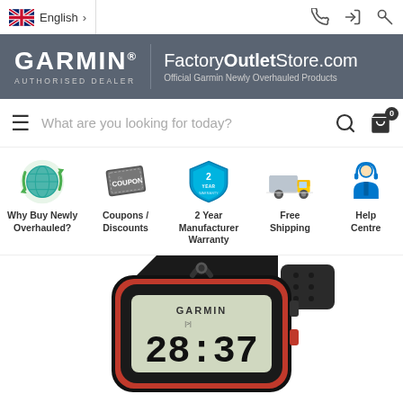[Figure (screenshot): Website screenshot of Garmin FactoryOutletStore.com showing language selector, site banner, search bar, feature icons (Why Buy Newly Overhauled?, Coupons/Discounts, 2 Year Manufacturer Warranty, Free Shipping, Help Centre), and a product image of a Garmin GPS running watch displaying 28:37]
GARMIN. FactoryOutletStore.com AUTHORISED DEALER — Official Garmin Newly Overhauled Products
English
What are you looking for today?
Why Buy Newly Overhauled?
Coupons / Discounts
2 Year Manufacturer Warranty
Free Shipping
Help Centre